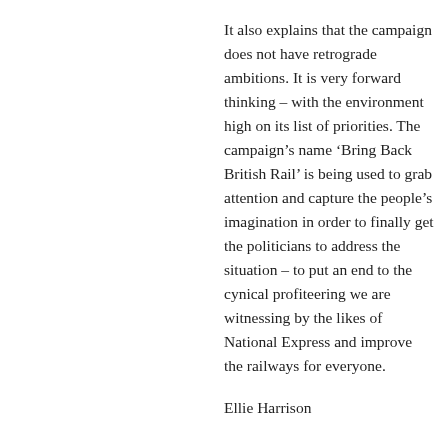It also explains that the campaign does not have retrograde ambitions. It is very forward thinking – with the environment high on its list of priorities. The campaign's name 'Bring Back British Rail' is being used to grab attention and capture the people's imagination in order to finally get the politicians to address the situation – to put an end to the cynical profiteering we are witnessing by the likes of National Express and improve the railways for everyone.
Ellie Harrison